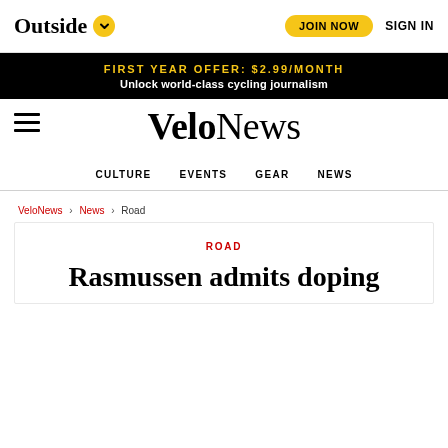Outside  JOIN NOW  SIGN IN
FIRST YEAR OFFER: $2.99/MONTH
Unlock world-class cycling journalism
VeloNews
CULTURE  EVENTS  GEAR  NEWS
VeloNews > News > Road
ROAD
Rasmussen admits doping